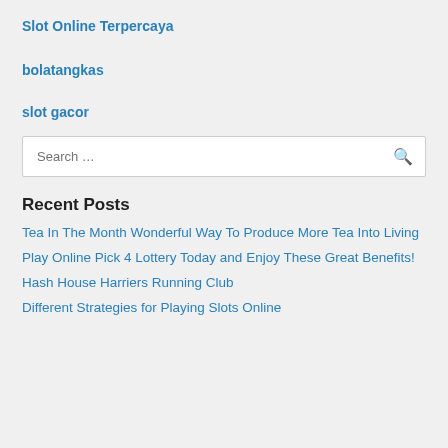Slot Online Terpercaya
bolatangkas
slot gacor
Search …
Recent Posts
Tea In The Month Wonderful Way To Produce More Tea Into Living
Play Online Pick 4 Lottery Today and Enjoy These Great Benefits!
Hash House Harriers Running Club
Different Strategies for Playing Slots Online